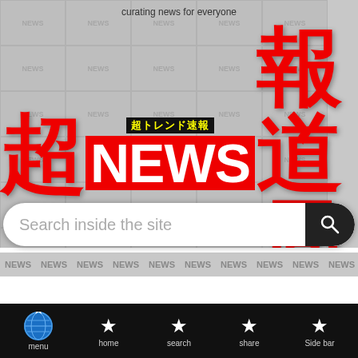curating news for everyone
超NEWS報道局（超トレンド速報）
[Figure (screenshot): Search bar with placeholder text 'Search inside the site' and a dark search button with magnifying glass icon]
menu | home | search | share | Side bar